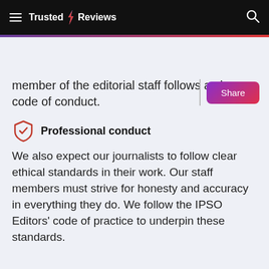Trusted Reviews
member of the editorial staff follows a clear code of conduct.
Professional conduct
We also expect our journalists to follow clear ethical standards in their work. Our staff members must strive for honesty and accuracy in everything they do. We follow the IPSO Editors' code of practice to underpin these standards.